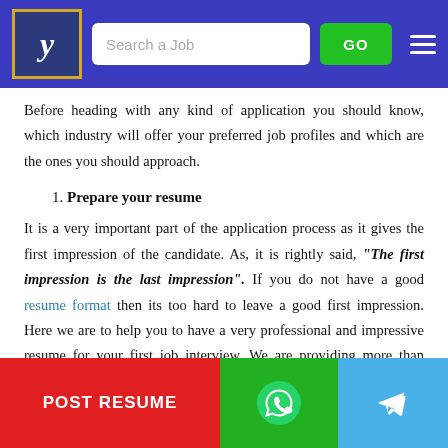Search a Job | GO
Before heading with any kind of application you should know, which industry will offer your preferred job profiles and which are the ones you should approach.
1. Prepare your resume
It is a very important part of the application process as it gives the first impression of the candidate. As, it is rightly said, “The first impression is the last impression”. If you do not have a good resume format then its too hard to leave a good first impression. Here we are to help you to have a very professional and impressive resume for your first job interview. We are providing more than 1000 impressive resume format for… inte… e. Yo… raft… g a… ant